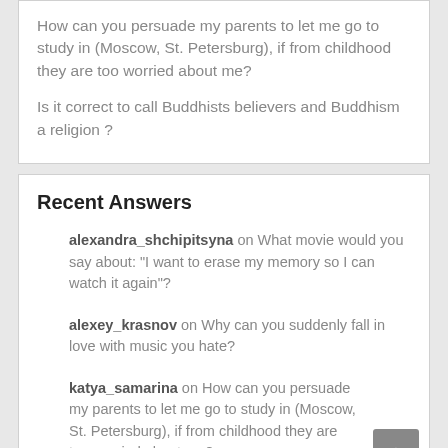How can you persuade my parents to let me go to study in (Moscow, St. Petersburg), if from childhood they are too worried about me?
Is it correct to call Buddhists believers and Buddhism a religion ?
Recent Answers
alexandra_shchipitsyna on What movie would you say about: "I want to erase my memory so I can watch it again"?
alexey_krasnov on Why can you suddenly fall in love with music you hate?
katya_samarina on How can you persuade my parents to let me go to study in (Moscow, St. Petersburg), if from childhood they are too worried about me?